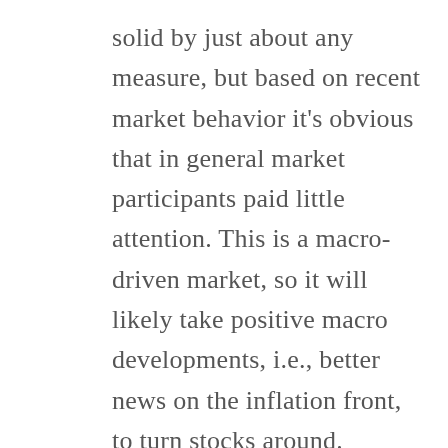solid by just about any measure, but based on recent market behavior it's obvious that in general market participants paid little attention. This is a macro-driven market, so it will likely take positive macro developments, i.e., better news on the inflation front, to turn stocks around. However, these results are impressive on their own and shouldn't hurt the case for the bulls. The question is when will the micro stop getting drowned out by the